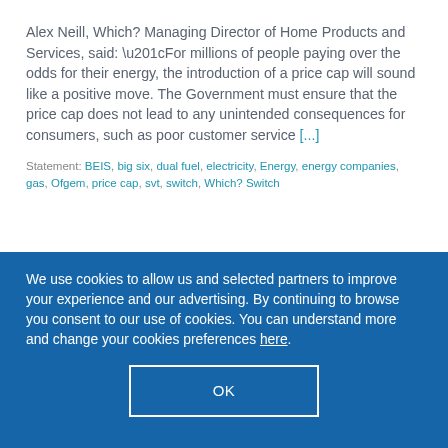Alex Neill, Which? Managing Director of Home Products and Services, said: “For millions of people paying over the odds for their energy, the introduction of a price cap will sound like a positive move. The Government must ensure that the price cap does not lead to any unintended consequences for consumers, such as poor customer service [...]
Statement: BEIS, big six, dual fuel, electricity, Energy, energy companies, gas, Ofgem, price cap, svt, switch, Which? Switch
We use cookies to allow us and selected partners to improve your experience and our advertising. By continuing to browse you consent to our use of cookies. You can understand more and change your cookies preferences here.